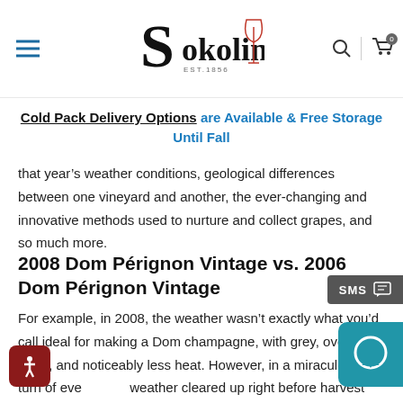Sokolin EST. 1856 [logo with wine glass icon, hamburger menu, search icon, and cart]
Cold Pack Delivery Options are Available & Free Storage Until Fall
that year's weather conditions, geological differences between one vineyard and another, the ever-changing and innovative methods used to nurture and collect grapes, and so much more.
2008 Dom Pérignon Vintage vs. 2006 Dom Pérignon Vintage
For example, in 2008, the weather wasn't exactly what you'd call ideal for making a Dom champagne, with grey, overcast skies, and noticeably less heat. However, in a miraculous turn of events, the weather cleared up right before harvest took place, bringing north-eastern winds and helping the winemakers deliver what is considered one of Dom Pérignon's strongest recent performances.
The 2008 Dom champagne boasts a stunning, luminous aromatic bouquet, with a complex and compelling combination of stone fruit,